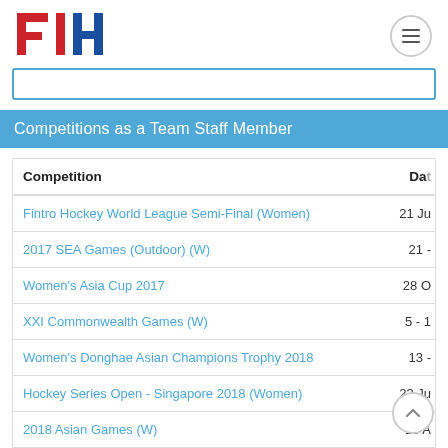[Figure (logo): FIH (International Hockey Federation) logo — red and blue stylized letters F, I, H]
Competitions as a Team Staff Member
| Competition | Da… |
| --- | --- |
| Fintro Hockey World League Semi-Final (Women) | 21 Ju |
| 2017 SEA Games (Outdoor) (W) | 21 - |
| Women's Asia Cup 2017 | 28 O |
| XXI Commonwealth Games (W) | 5 - 1 |
| Women's Donghae Asian Champions Trophy 2018 | 13 - |
| Hockey Series Open - Singapore 2018 (Women) | 23 Ju |
| 2018 Asian Games (W) | 19 A |
| 2019 Test Matches: MAS v IND (W) | 4 - 1 |
| 2019 3 Nations Tournament ITA v MAS v ESP | 26 - |